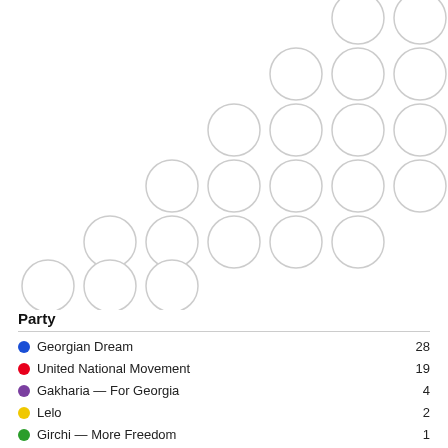[Figure (other): Dot/bubble chart showing parliamentary seat distribution. Circles arranged in a diagonal/staggered grid pattern. All circles are unfilled (white with light grey border), suggesting seats not yet colored, or representing a partial view of a waffle/parliament chart.]
| Party | Seats |
| --- | --- |
| Georgian Dream | 28 |
| United National Movement | 19 |
| Gakharia — For Georgia | 4 |
| Lelo | 2 |
| Girchi — More Freedom | 1 |